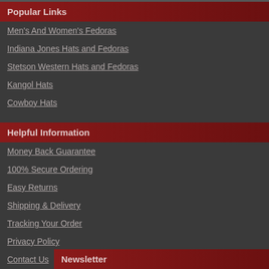Popular Links
Men's And Women's Fedoras
Indiana Jones Hats and Fedoras
Stetson Western Hats and Fedoras
Kangol Hats
Cowboy Hats
Helpful Information
Money Back Guarantee
100% Secure Ordering
Easy Returns
Shipping & Delivery
Tracking Your Order
Privacy Policy
Contact Us
Newsletter